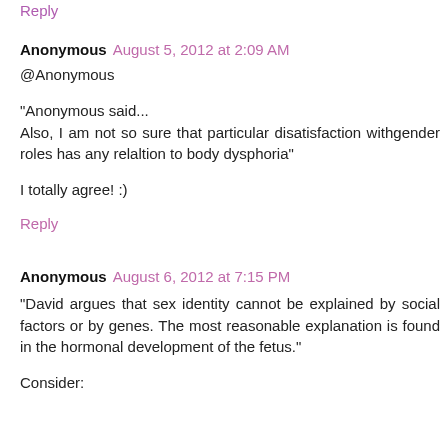Reply
Anonymous  August 5, 2012 at 2:09 AM
@Anonymous
"Anonymous said...
Also, I am not so sure that particular disatisfaction withgender roles has any relaltion to body dysphoria"
I totally agree! :)
Reply
Anonymous  August 6, 2012 at 7:15 PM
"David argues that sex identity cannot be explained by social factors or by genes. The most reasonable explanation is found in the hormonal development of the fetus."
Consider: